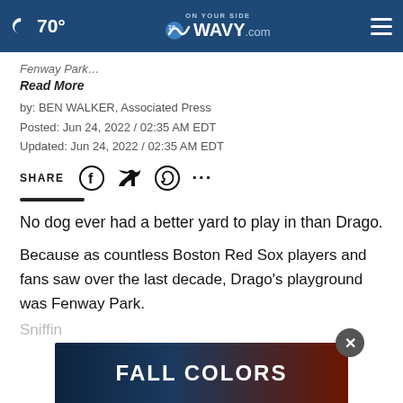70° WAVY.com ON YOUR SIDE
Fenway Park…
Read More
by: BEN WALKER, Associated Press
Posted: Jun 24, 2022 / 02:35 AM EDT
Updated: Jun 24, 2022 / 02:35 AM EDT
SHARE
No dog ever had a better yard to play in than Drago.
Because as countless Boston Red Sox players and fans saw over the last decade, Drago's playground was Fenway Park.
Sniffin…
[Figure (advertisement): Fall Colors advertisement banner with Continue Reading bar]